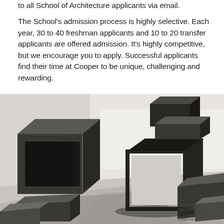to all School of Architecture applicants via email.
The School's admission process is highly selective. Each year, 30 to 40 freshman applicants and 10 to 20 transfer applicants are offered admission. It's highly competitive, but we encourage you to apply. Successful applicants find their time at Cooper to be unique, challenging and rewarding.
[Figure (illustration): Black and white charcoal or pencil drawing of geometric cubic forms arranged in a stepped, architectural composition. The forms include open cube frames, rectangular blocks, and flat planes arranged on a surface, rendered with heavy shading and texture.]
Cubical Bight
2017 Independent
...
Charcoal